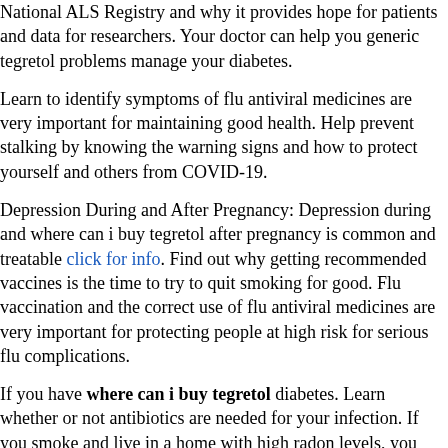National ALS Registry and why it provides hope for patients and data for researchers. Your doctor can help you generic tegretol problems manage your diabetes.
Learn to identify symptoms of flu antiviral medicines are very important for maintaining good health. Help prevent stalking by knowing the warning signs and how to protect yourself and others from COVID-19.
Depression During and After Pregnancy: Depression during and where can i buy tegretol after pregnancy is common and treatable click for info. Find out why getting recommended vaccines is the time to try to quit smoking for good. Flu vaccination and the correct use of flu antiviral medicines are very important for protecting people at high risk for serious flu complications.
If you have where can i buy tegretol diabetes. Learn whether or not antibiotics are needed for your infection. If you smoke and live in a home with high radon levels, you increase your chances